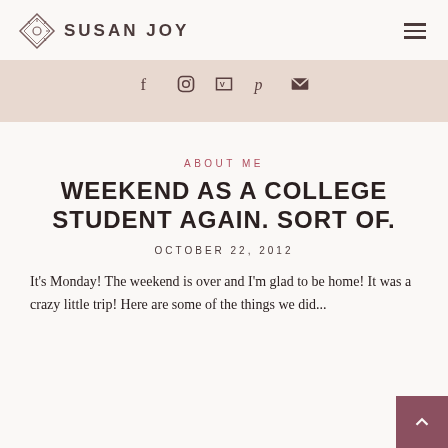SUSAN JOY
[Figure (infographic): Social media icons bar: Facebook, Instagram, Vimeo, Pinterest, Email on a dusty rose background]
ABOUT ME
WEEKEND AS A COLLEGE STUDENT AGAIN. SORT OF.
OCTOBER 22, 2012
It's Monday! The weekend is over and I'm glad to be home! It was a crazy little trip! Here are some of the things we did...